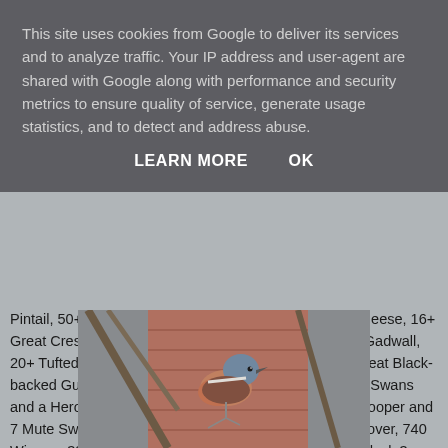This site uses cookies from Google to deliver its services and to analyze traffic. Your IP address and user-agent are shared with Google along with performance and security metrics to ensure quality of service, generate usage statistics, and to detect and address abuse.
LEARN MORE    OK
Pintail, 50+ Canada Geese, 50+ Greylags, 2 Barnacle Geese, 16+ Great Crested Grebes, 8+ Goldeneye, 125+ Mallard, 8 Gadwall, 20+ Tufted Duck, 50+ Coot, 65+ Wigeon, 35+ Teal, 4 Great Black-backed Gulls, 15 Common Gulls, 8 Cormorants, 3 Mute Swans and a Heron. Low Marishes hosted a Great Egret, 2 Whooper and 7 Mute Swans, 34 Pintail, 920 Lapwings, 115 Golden Plover, 740 Wigeon, 323 Teal, 2 Shoveler and 36 Mallard. Towards dusk 3 Great Northen Divers were at the harbour and 32 Purple Sandpipers were roosting on East Pier.
[Figure (photo): A chaffinch bird perched on bare branches, with brownish-red brick background visible. The bird has a blue-grey head and warm orange-brown breast.]